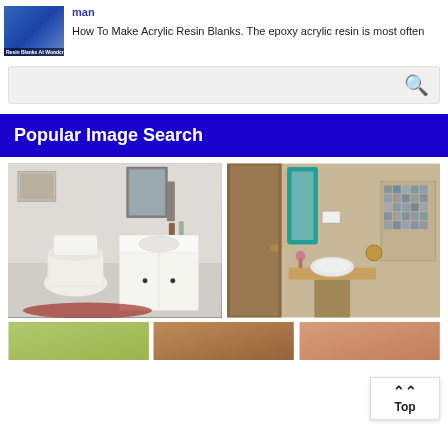[Figure (photo): Small thumbnail of acrylic resin blanks product image with blue background and white text label]
man
How To Make Acrylic Resin Blanks. The epoxy acrylic resin is most often
[Figure (other): Search bar with magnifying glass icon on grey background]
Popular Image Search
[Figure (photo): Small bathroom interior with white toilet, white vanity cabinet, decorative rug, wall art, and mirror]
[Figure (photo): Modern bathroom with teal-framed mirror, wooden door, vessel sink on wooden countertop, and textured tile niche]
[Figure (photo): Bottom row thumbnail 1 - greenish image]
[Figure (photo): Bottom row thumbnail 2 - brownish image]
[Figure (photo): Bottom row thumbnail 3 - reddish-brown bathroom image]